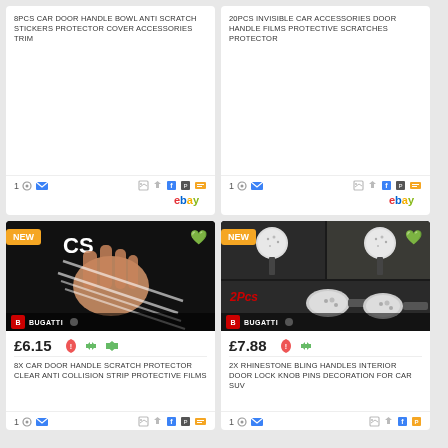[Figure (screenshot): Top-left product card: 8PCS CAR DOOR HANDLE BOWL ANTI SCRATCH STICKERS PROTECTOR COVER ACCESSORIES TRIM. Shows price icons, social share icons, eBay logo.]
[Figure (screenshot): Top-right product card: 20PCS INVISIBLE CAR ACCESSORIES DOOR HANDLE FILMS PROTECTIVE SCRATCHES PROTECTOR. Shows price icons, social share icons, eBay logo.]
[Figure (photo): Bottom-left product card image: hand with clear protective strips on black background. NEW badge, green heart, BUGATTI branding.]
£6.15
8X CAR DOOR HANDLE SCRATCH PROTECTOR CLEAR ANTI COLLISION STRIP PROTECTIVE FILMS
[Figure (photo): Bottom-right product card image: rhinestone bling door lock knob pins on dark background, 2Pcs label. NEW badge, green heart, BUGATTI branding.]
£7.88
2X RHINESTONE BLING HANDLES INTERIOR DOOR LOCK KNOB PINS DECORATION FOR CAR SUV